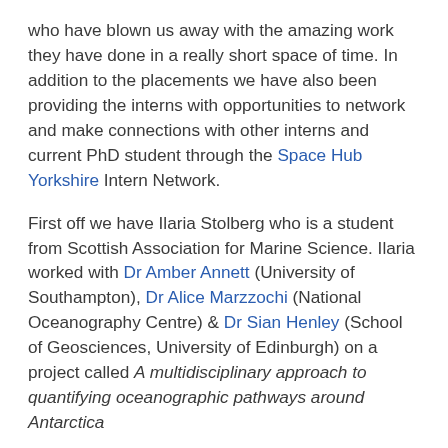who have blown us away with the amazing work they have done in a really short space of time. In addition to the placements we have also been providing the interns with opportunities to network and make connections with other interns and current PhD student through the Space Hub Yorkshire Intern Network.
First off we have Ilaria Stolberg who is a student from Scottish Association for Marine Science. Ilaria worked with Dr Amber Annett (University of Southampton), Dr Alice Marzzochi (National Oceanography Centre) & Dr Sian Henley (School of Geosciences, University of Edinburgh) on a project called A multidisciplinary approach to quantifying oceanographic pathways around Antarctica